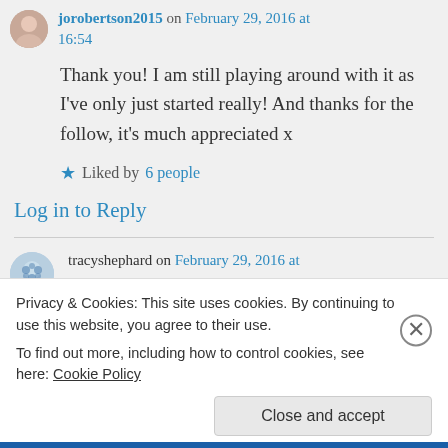jorobertson2015 on February 29, 2016 at 16:54
Thank you! I am still playing around with it as I've only just started really! And thanks for the follow, it's much appreciated x
Liked by 6 people
Log in to Reply
tracyshephard on February 29, 2016 at
Privacy & Cookies: This site uses cookies. By continuing to use this website, you agree to their use.
To find out more, including how to control cookies, see here: Cookie Policy
Close and accept